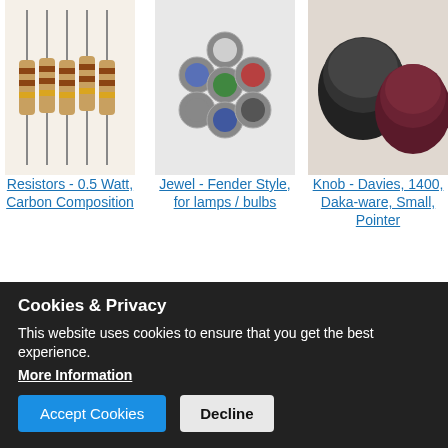[Figure (photo): Five carbon composition resistors standing vertically]
Resistors - 0.5 Watt, Carbon Composition
[Figure (photo): Jewel Fender-style lamp/bulb covers in various colors arranged in a cluster]
Jewel - Fender Style, for lamps / bulbs
[Figure (photo): Davies 1400 Daka-ware small pointer knob in dark and maroon colors]
Knob - Davies, 1400, Daka-ware, Small, Pointer
Related Products
[Figure (photo): Black knobs of various sizes]
[Figure (photo): Gold and white knobs]
[Figure (photo): Gold and silver/white knobs]
Cookies & Privacy
This website uses cookies to ensure that you get the best experience.
More Information
Accept Cookies
Decline